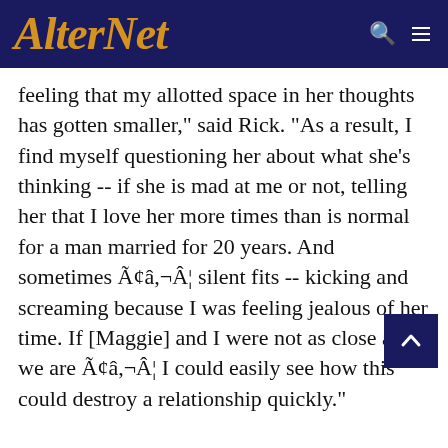AlterNet
feeling that my allotted space in her thoughts has gotten smaller," said Rick. "As a result, I find myself questioning her about what she's thinking -- if she is mad at me or not, telling her that I love her more times than is normal for a man married for 20 years. And sometimes Ã¢â‚¬Â¦ silent fits -- kicking and screaming because I was feeling jealous of her time. If [Maggie] and I were not as close as we are Ã¢â‚¬Â¦ I could easily see how this could destroy a relationship quickly."